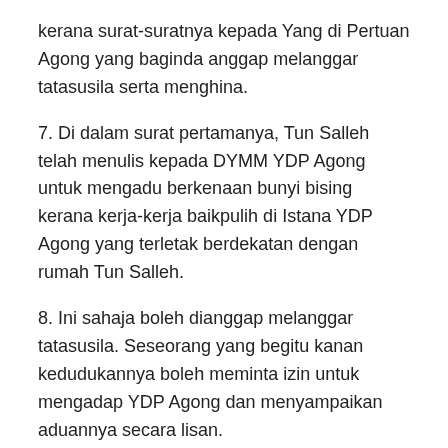kerana surat-suratnya kepada Yang di Pertuan Agong yang baginda anggap melanggar tatasusila serta menghina.
7. Di dalam surat pertamanya, Tun Salleh telah menulis kepada DYMM YDP Agong untuk mengadu berkenaan bunyi bising kerana kerja-kerja baikpulih di Istana YDP Agong yang terletak berdekatan dengan rumah Tun Salleh.
8. Ini sahaja boleh dianggap melanggar tatasusila. Seseorang yang begitu kanan kedudukannya boleh meminta izin untuk mengadap YDP Agong dan menyampaikan aduannya secara lisan.
9. Untuk memburukkan lagi perbuatan menghina